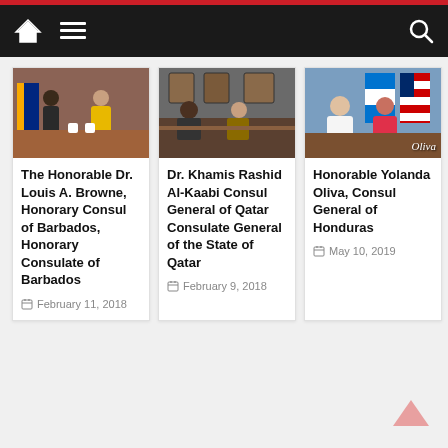Navigation bar with home, menu, and search icons
[Figure (photo): Photo of two people at a desk with Barbados flag, man in suit and woman in yellow]
The Honorable Dr. Louis A. Browne, Honorary Consul of Barbados, Honorary Consulate of Barbados
February 11, 2018
[Figure (photo): Photo of people sitting at a meeting table in an office]
Dr. Khamis Rashid Al-Kaabi Consul General of Qatar Consulate General of the State of Qatar
February 9, 2018
[Figure (photo): Photo of two women with Honduras and US flags, watermark Oliva]
Honorable Yolanda Oliva, Consul General of Honduras
May 10, 2019